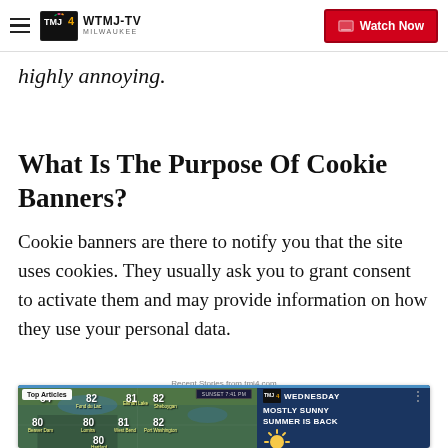WTMJ-TV MILWAUKEE — Watch Now
highly annoying.
What Is The Purpose Of Cookie Banners?
Cookie banners are there to notify you that the site uses cookies. They usually ask you to grant consent to activate them and may provide information on how they use your personal data.
Recent Stories from tmj4.com
[Figure (screenshot): WTMJ-TV weather broadcast screenshot showing a weather map of Wisconsin with temperature readings (80, 81, 82, 84, 80, 81, 80, 82) for various cities including Elkhart Lake, Sheboygan, Fond du Lac, Lomira, West Bend, Port Washington, Beaver Dam, Hartford, and a right panel showing Wednesday Mostly Sunny Summer Is Back with a sun icon. A 'Top Articles' overlay is visible in the upper left corner of the image.]